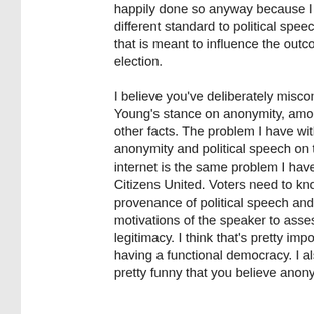happily done so anyway because I apply a different standard to political speech, speech that is meant to influence the outcome of an election.
I believe you've deliberately misconstrued Mr. Young's stance on anonymity, among many other facts. The problem I have with anonymity and political speech on the internet is the same problem I have with Citizens United. Voters need to know the provenance of political speech and the motivations of the speaker to assess its legitimacy. I think that's pretty important to having a functional democracy. I also think it's pretty funny that you believe anonymity on